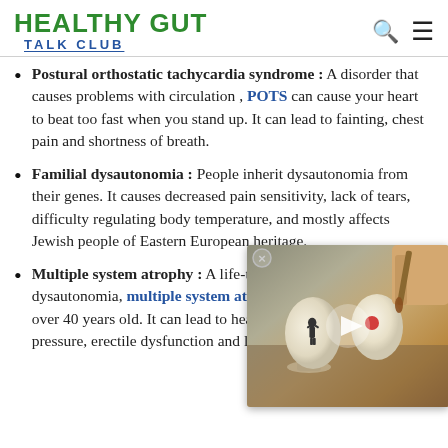HEALTHY GUT TALK CLUB
Postural orthostatic tachycardia syndrome : A disorder that causes problems with circulation , POTS can cause your heart to beat too fast when you stand up. It can lead to fainting, chest pain and shortness of breath.
Familial dysautonomia : People inherit dysautonomia from their genes. It causes decreased pain sensitivity, lack of tears, difficulty regulating body temperature, and mostly affects Jewish people of Eastern European heritage.
[Figure (photo): Video thumbnail overlay showing hands painting eggs, partially obscuring the text. Has a circular close button and play button.]
Multiple system atrophy : A life-threatening form of dysautonomia, multiple system atrophy develops in people over 40 years old. It can lead to heart rate issues, low blood pressure, erectile dysfunction and loss of